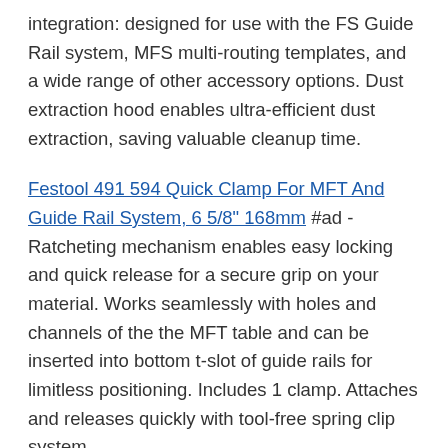integration: designed for use with the FS Guide Rail system, MFS multi-routing templates, and a wide range of other accessory options. Dust extraction hood enables ultra-efficient dust extraction, saving valuable cleanup time.
Festool 491594 Quick Clamp For MFT And Guide Rail System, 6 5/8" 168mm #ad - Ratcheting mechanism enables easy locking and quick release for a secure grip on your material. Works seamlessly with holes and channels of the the MFT table and can be inserted into bottom t-slot of guide rails for limitless positioning. Includes 1 clamp. Attaches and releases quickly with tool-free spring clip system.
Dust extraction: integrated dust extraction ports